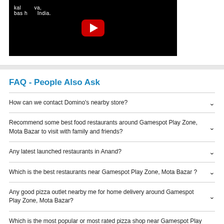[Figure (screenshot): YouTube video thumbnail showing dark background with partial text and red YouTube play button]
FAQ - People Also Ask
How can we contact Domino's nearby store?
Recommend some best food restaurants around Gamespot Play Zone, Mota Bazar to visit with family and friends?
Any latest launched restaurants in Anand?
Which is the best restaurants near Gamespot Play Zone, Mota Bazar ?
Any good pizza outlet nearby me for home delivery around Gamespot Play Zone, Mota Bazar?
Which is the most popular or most rated pizza shop near Gamespot Play Zone, Mota Bazar ?